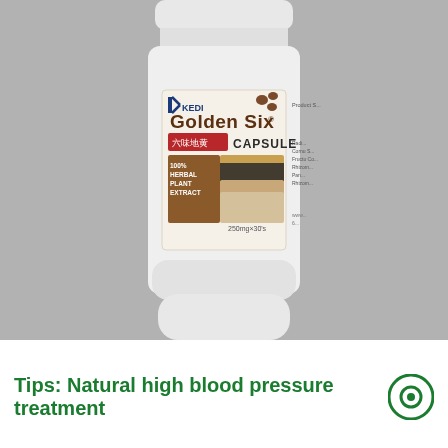[Figure (photo): A white cylindrical supplement bottle labeled 'Golden Six CAPSULE' by Kedi. The label features Chinese characters '六味地黄', text '100% HERBAL PLANT EXTRACT', images of herbal ingredients, and '250mg x 30s'. The bottle is photographed against a gray background.]
Tips: Natural high blood pressure treatment